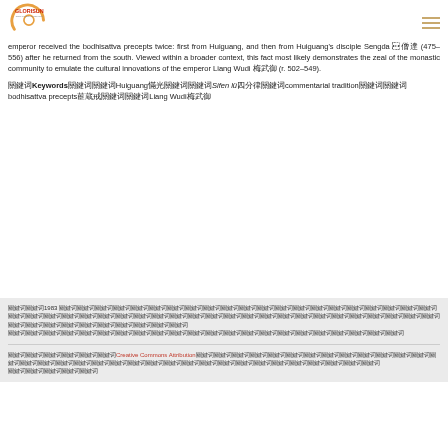GLORISUN GLOBAL BUDDHIST NETWORK
emperor received the bodhisattva precepts twice: first from Huiguang, and then from Huiguang's disciple Sengda 僧達 (475–556) after he returned from the south. Viewed within a broader context, this fact most likely demonstrates the zeal of the monastic community to emulate the cultural innovations of the emperor Liang Wudi 梁武帝 (r. 502–549).
關鍵詞Keywords關鍵詞關鍵詞Huiguang慧光關鍵詞關鍵詞Sifen lü四分律關鍵詞commentarial tradition關鍵詞關鍵詞bodhisattva precepts菩薩戒關鍵詞Liang Wudi梁武帝
關鍵詞關鍵詞1983 關鍵詞關鍵詞關鍵詞關鍵詞關鍵詞關鍵詞關鍵詞關鍵詞關鍵詞關鍵詞關鍵詞關鍵詞關鍵詞關鍵詞關鍵詞關鍵詞關鍵詞關鍵詞關鍵詞關鍵詞關鍵詞關鍵詞關鍵詞關鍵詞關鍵詞關鍵詞關鍵詞關鍵詞關鍵詞關鍵詞關鍵詞關鍵詞關鍵詞關鍵詞關鍵詞關鍵詞關鍵詞關鍵詞關鍵詞關鍵詞關鍵詞關鍵詞關鍵詞關鍵詞關鍵詞關鍵詞
Creative Commons Attribution license